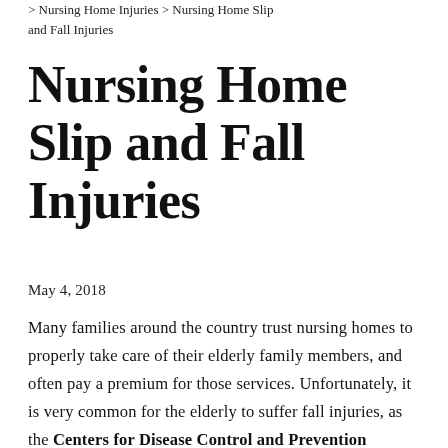> Nursing Home Injuries > Nursing Home Slip and Fall Injuries
Nursing Home Slip and Fall Injuries
May 4, 2018
Many families around the country trust nursing homes to properly take care of their elderly family members, and often pay a premium for those services. Unfortunately, it is very common for the elderly to suffer fall injuries, as the Centers for Disease Control and Prevention reported that every year, over 800,000 patients a year are